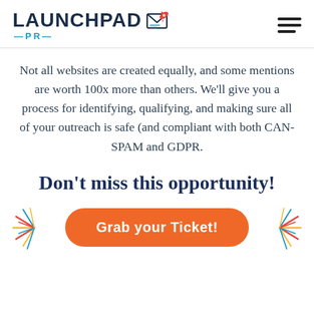[Figure (logo): LaunchPad PR logo with rocket icon and hamburger menu]
Not all websites are created equally, and some mentions are worth 100x more than others. We'll give you a process for identifying, qualifying, and making sure all of your outreach is safe (and compliant with both CAN-SPAM and GDPR.
Don't miss this opportunity!
[Figure (illustration): Orange 'Grab your Ticket!' button with colorful starburst decorations on left and right sides]